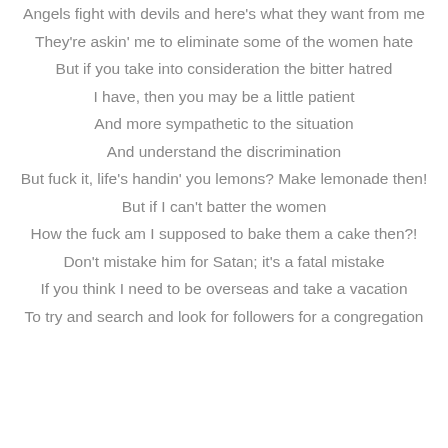Angels fight with devils and here's what they want from me
They're askin' me to eliminate some of the women hate
But if you take into consideration the bitter hatred
I have, then you may be a little patient
And more sympathetic to the situation
And understand the discrimination
But fuck it, life's handin' you lemons? Make lemonade then!
But if I can't batter the women
How the fuck am I supposed to bake them a cake then?!
Don't mistake him for Satan; it's a fatal mistake
If you think I need to be overseas and take a vacation
To try and search and look for followers for a congregation